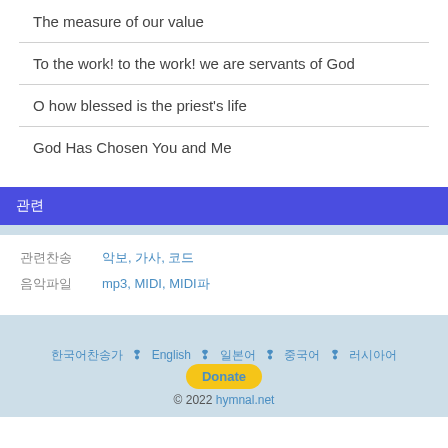The measure of our value
To the work! to the work! we are servants of God
O how blessed is the priest's life
God Has Chosen You and Me
관련
관련찬송   악보, 가사, 코드
음악파일   mp3, MIDI, MIDI파
한국어찬송가 ǁ English ǁ 일본어 ǁ 중국어 ǁ 러시아어 © 2022 hymnal.net